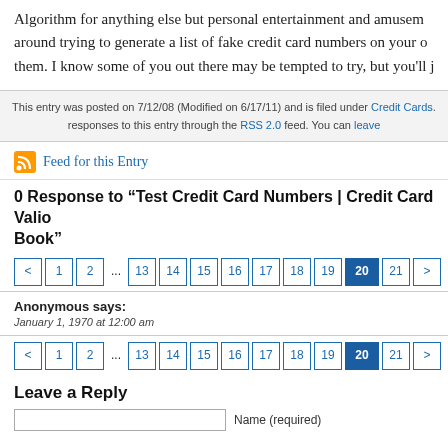Algorithm for anything else but personal entertainment and amusement. Don't go around trying to generate a list of fake credit card numbers on your own and use them. I know some of you out there may be tempted to try, but you'll j...
This entry was posted on 7/12/08 (Modified on 6/17/11) and is filed under Credit Cards. responses to this entry through the RSS 2.0 feed. You can leave...
Feed for this Entry
0 Response to “Test Credit Card Numbers | Credit Card Validator's Hand Book”
Pagination: < 1 2 ... 13 14 15 16 17 18 19 20 21 >
Anonymous says:
January 1, 1970 at 12:00 am
Pagination: < 1 2 ... 13 14 15 16 17 18 19 20 21 >
Leave a Reply
Name (required)